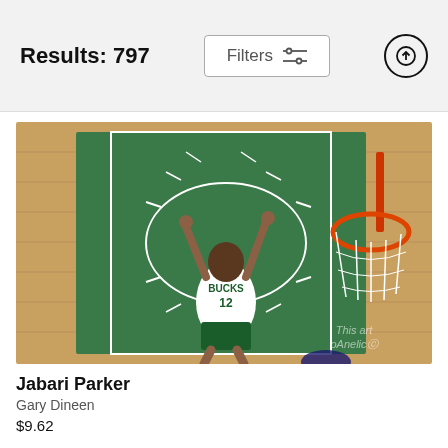Results: 797
[Figure (photo): Milwaukee Bucks player Jabari Parker (#12) dunking a basketball through the hoop, viewed from above, on a green court. Getty Images / iOne/lic watermark visible.]
Jabari Parker
Gary Dineen
$9.62